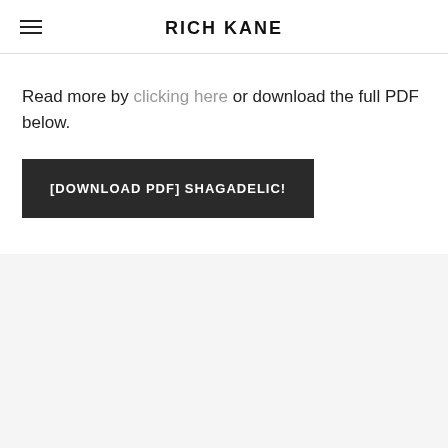RICH KANE
Read more by clicking here or download the full PDF below.
[DOWNLOAD PDF] SHAGADELIC!